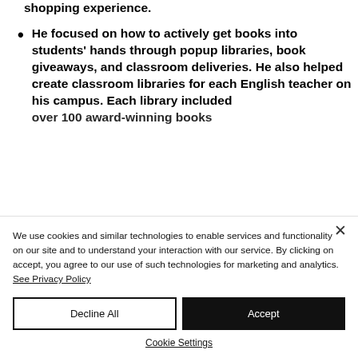shopping experience.
He focused on how to actively get books into students' hands through popup libraries, book giveaways, and classroom deliveries. He also helped create classroom libraries for each English teacher on his campus. Each library included over 100 award-winning books...
We use cookies and similar technologies to enable services and functionality on our site and to understand your interaction with our service. By clicking on accept, you agree to our use of such technologies for marketing and analytics. See Privacy Policy
Decline All
Accept
Cookie Settings